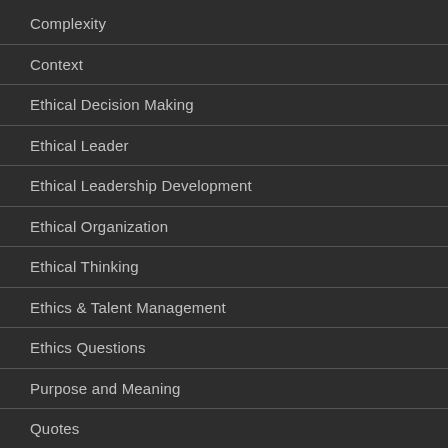Complexity
Context
Ethical Decision Making
Ethical Leader
Ethical Leadership Development
Ethical Organization
Ethical Thinking
Ethics & Talent Management
Ethics Questions
Purpose and Meaning
Quotes